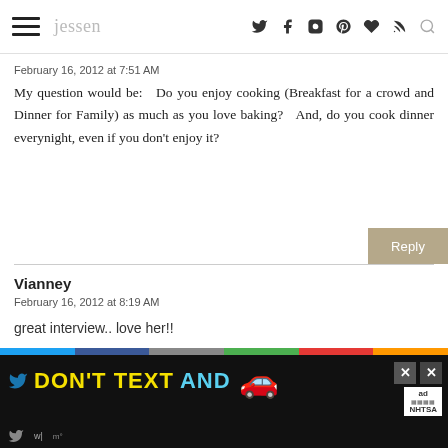jessen
February 16, 2012 at 7:51 AM
My question would be:  Do you enjoy cooking (Breakfast for a crowd and Dinner for Family) as much as you love baking?  And, do you cook dinner everynight, even if you don't enjoy it?
Vianney
February 16, 2012 at 8:19 AM
great interview.. love her!!
[Figure (screenshot): DON'T TEXT AND [car emoji] ad banner with NHTSA logo at bottom of page]